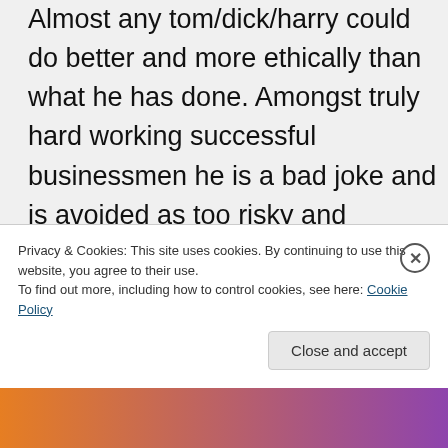Almost any tom/dick/harry could do better and more ethically than what he has done. Amongst truly hard working successful businessmen he is a bad joke and is avoided as too risky and unaccountable to do any kind of business with. He keeps getting bailed out financially by OVERSEAS MONEY as US Banks want no part of him. Hello? That is not a jealousy-based narrative; it is
Privacy & Cookies: This site uses cookies. By continuing to use this website, you agree to their use.
To find out more, including how to control cookies, see here: Cookie Policy